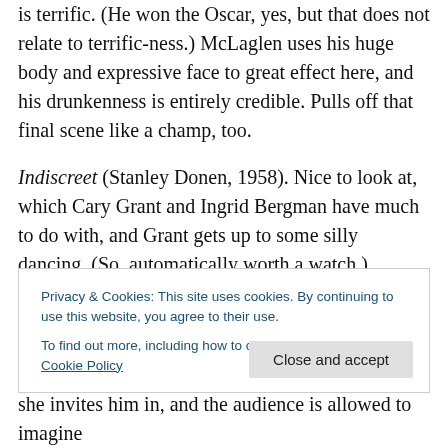is terrific. (He won the Oscar, yes, but that does not relate to terrific-ness.) McLaglen uses his huge body and expressive face to great effect here, and his drunkenness is entirely credible. Pulls off that final scene like a champ, too.
Indiscreet (Stanley Donen, 1958). Nice to look at, which Cary Grant and Ingrid Bergman have much to do with, and Grant gets up to some silly dancing. (So, automatically worth a watch.) There's one nice sequence, indicating that this is a Grown Up Movie for 1958, when the two walk home wordlessly through London in the night, with the
Privacy & Cookies: This site uses cookies. By continuing to use this website, you agree to their use. To find out more, including how to control cookies, see here: Cookie Policy
she invites him in, and the audience is allowed to imagine